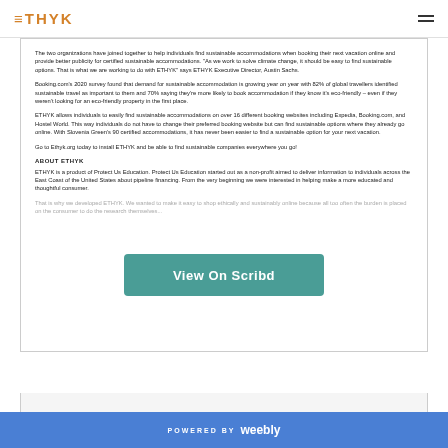ETHYK
The two organizations have joined together to help individuals find sustainable accommodations when booking their next vacation online and provide better publicity for certified sustainable accommodations. "As we work to solve climate change, it should be easy to find sustainable options. That is what we are working to do with ETHYK" says ETHYK Executive Director, Austin Sachs.
Booking.com's 2020 survey found that demand for sustainable accommodation is growing year on year with 82% of global travellers identified sustainable travel as important to them and 70% saying they're more likely to book accommodation if they know it's eco-friendly – even if they weren't looking for an eco-friendly property in the first place.
ETHYK allows individuals to easily find sustainable accommodations on over 16 different booking websites including Expedia, Booking.com, and Hostel World. This way individuals do not have to change their preferred booking website but can find sustainable options where they already go online. With Slovenia Green's 90 certified accommodations, it has never been easier to find a sustainable option for your next vacation.
Go to Ethyk.org today to install ETHYK and be able to find sustainable companies everywhere you go!
ABOUT ETHYK
ETHYK is a product of Protect Us Education. Protect Us Education started out as a non-profit aimed to deliver information to individuals across the East Coast of the United States about pipeline financing. From the very beginning we were interested in helping make a more educated and thoughtful consumer.
That is why we developed ETHYK. We wanted to make it easy to shop ethically and sustainably online because all too often the burden is placed on the consumer to do the research themselves...
[Figure (screenshot): Scribd 'View On Scribd' overlay button in teal/green color]
1 of 2
POWERED BY weebly